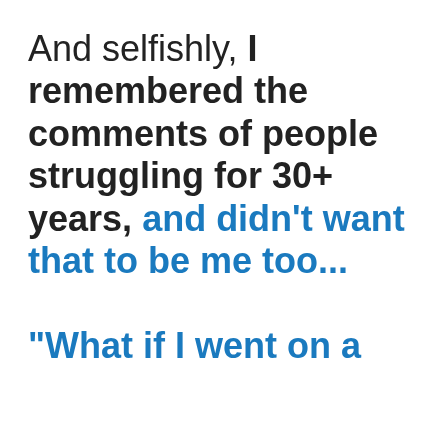And selfishly, I remembered the comments of people struggling for 30+ years, and didn't want that to be me too... "What if I went on a